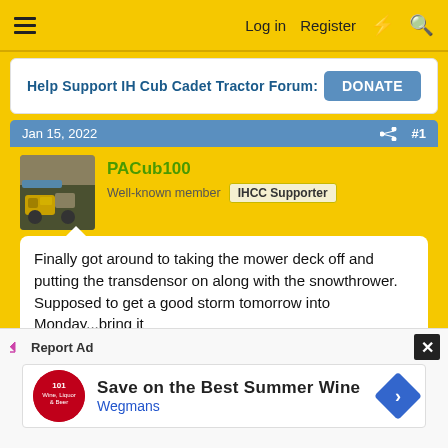≡  Log in  Register  ⚡  🔍
Help Support IH Cub Cadet Tractor Forum:  DONATE
Jan 15, 2022  #1
PACub100
Well-known member  IHCC Supporter
Finally got around to taking the mower deck off and putting the transdensor on along with the snowthrower. Supposed to get a good storm tomorrow into Monday...bring it
[Figure (photo): Outdoor photo showing equipment/tractor with dark background on right side]
Report Ad
Save on the Best Summer Wine
Wegmans